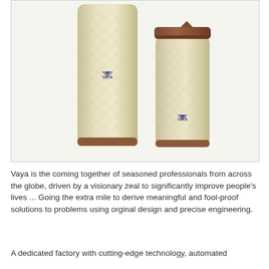[Figure (photo): Two cream/beige colored insulated tumblers/bottles with a diamond texture pattern and VAYA logo. The taller bottle on the left has no lid visible; the shorter cup on the right has a brown lid. Both have brown bases.]
Vaya is the coming together of seasoned professionals from across the globe, driven by a visionary zeal to significantly improve people's lives ... Going the extra mile to derive meaningful and fool-proof solutions to problems using orginal design and precise engineering.
A dedicated factory with cutting-edge technology, automated